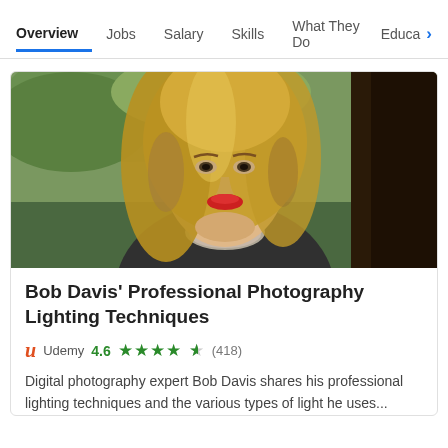Overview  Jobs  Salary  Skills  What They Do  Educa >
[Figure (photo): Outdoor portrait photo of a blonde woman with red lipstick and a scarf, with blurred green/tree background]
Bob Davis' Professional Photography Lighting Techniques
Udemy  4.6 ★★★★½  (418)
Digital photography expert Bob Davis shares his professional lighting techniques and the various types of light he uses...